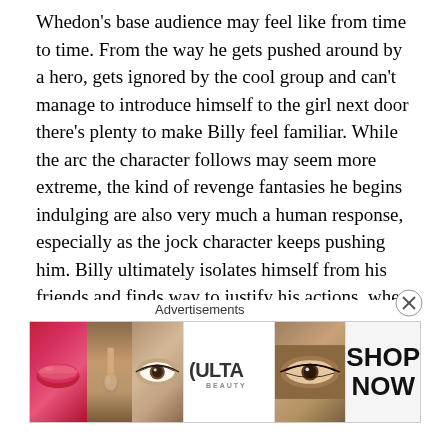Whedon's base audience may feel like from time to time. From the way he gets pushed around by a hero, gets ignored by the cool group and can't manage to introduce himself to the girl next door there's plenty to make Billy feel familiar. While the arc the character follows may seem more extreme, the kind of revenge fantasies he begins indulging are also very much a human response, especially as the jock character keeps pushing him. Billy ultimately isolates himself from his friends and finds way to justify his actions, when in reality he's been left angry and lonely by a world that he can't accept just as much as they can't accept him.
[Figure (photo): Partial view of a photograph at the bottom of the article, with a black separator bar visible at top.]
Advertisements
[Figure (photo): Ulta Beauty advertisement banner showing makeup imagery including lips with lipstick, a makeup brush, eye with makeup, Ulta logo, eye with dramatic makeup, and 'SHOP NOW' call to action.]